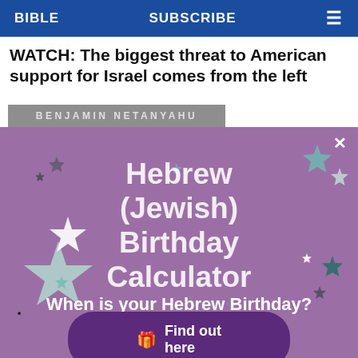BIBLE   SUBSCRIBE   ≡
WATCH: The biggest threat to American support for Israel comes from the left
[Figure (screenshot): Gray banner showing 'BENJAMIN NETANYAHU' text]
[Figure (infographic): Purple promotional banner for Hebrew (Jewish) Birthday Calculator with colorful star decorations, subtitle 'When is your Hebrew Birthday?', and a 'Find out here' button with gift icon.]